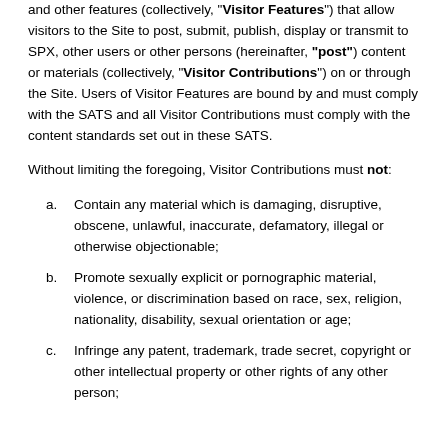and other features (collectively, "Visitor Features") that allow visitors to the Site to post, submit, publish, display or transmit to SPX, other users or other persons (hereinafter, "post") content or materials (collectively, "Visitor Contributions") on or through the Site. Users of Visitor Features are bound by and must comply with the SATS and all Visitor Contributions must comply with the content standards set out in these SATS.
Without limiting the foregoing, Visitor Contributions must not:
Contain any material which is damaging, disruptive, obscene, unlawful, inaccurate, defamatory, illegal or otherwise objectionable;
Promote sexually explicit or pornographic material, violence, or discrimination based on race, sex, religion, nationality, disability, sexual orientation or age;
Infringe any patent, trademark, trade secret, copyright or other intellectual property or other rights of any other person;